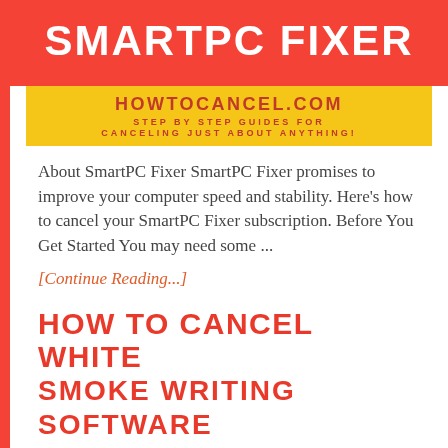[Figure (logo): SmartPC Fixer logo banner with red background and white bold text reading SMARTPC FIXER, below which is a yellow banner with howtocancel.com and subtitle text]
About SmartPC Fixer SmartPC Fixer promises to improve your computer speed and stability. Here's how to cancel your SmartPC Fixer subscription. Before You Get Started You may need some ...
[Continue Reading...]
HOW TO CANCEL WHITE SMOKE WRITING SOFTWARE